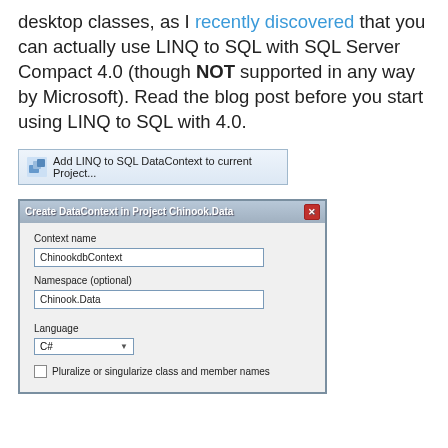desktop classes, as I recently discovered that you can actually use LINQ to SQL with SQL Server Compact 4.0 (though NOT supported in any way by Microsoft). Read the blog post before you start using LINQ to SQL with 4.0.
[Figure (screenshot): Visual Studio menu item: Add LINQ to SQL DataContext to current Project...]
[Figure (screenshot): Create DataContext in Project Chinook.Data dialog with fields: Context name (ChinookdbContext), Namespace (optional) (Chinook.Data), Language (C#), and checkbox: Pluralize or singularize class and member names]